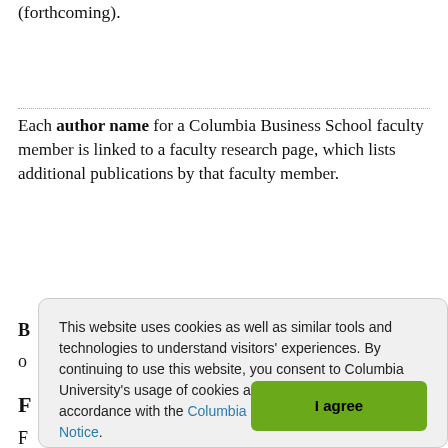(forthcoming).
Each author name for a Columbia Business School faculty member is linked to a faculty research page, which lists additional publications by that faculty member.
This website uses cookies as well as similar tools and technologies to understand visitors' experiences. By continuing to use this website, you consent to Columbia University's usage of cookies and similar technologies, in accordance with the Columbia University Website Cookie Notice.
I agree